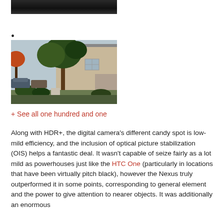[Figure (photo): Partial photo at top, dark image cropped at top of page]
•
[Figure (photo): Outdoor photo showing trees, shrubs, a building facade, parked cars, and landscaping on a suburban street]
+ See all one hundred and one
Along with HDR+, the digital camera's different candy spot is low-mild efficiency, and the inclusion of optical picture stabilization (OIS) helps a fantastic deal. It wasn't capable of seize fairly as a lot mild as powerhouses just like the HTC One (particularly in locations that have been virtually pitch black), however the Nexus truly outperformed it in some points, corresponding to general element and the power to give attention to nearer objects. It was additionally an enormous